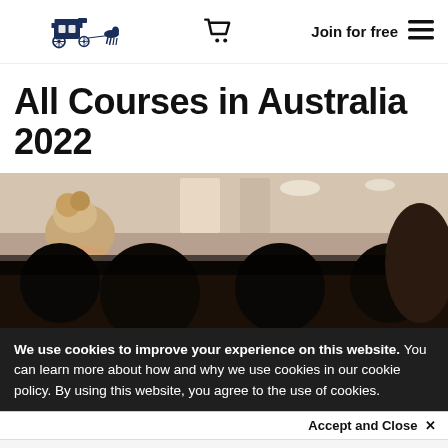[Figure (logo): Horse-drawn carriage logo (dark navy illustration)]
[Figure (illustration): Shopping cart icon]
Join for free
[Figure (illustration): Hamburger menu icon (three horizontal lines)]
All Courses in Australia 2022
[Figure (photo): Photo of people from behind in a conference or classroom setting, upper portion bright, lower portion dark]
We use cookies to improve your experience on this website. You can learn more about how and why we use cookies in our cookie policy. By using this website, you agree to the use of cookies.
Accept and Close ✕
Your browser settings do not allow cross-site tracking for advertising. Click on this page to allow AdRoll to use cross-site tracking to tailor ads to you. Learn more or opt out of this AdRoll tracking by clicking here. This message only appears once.